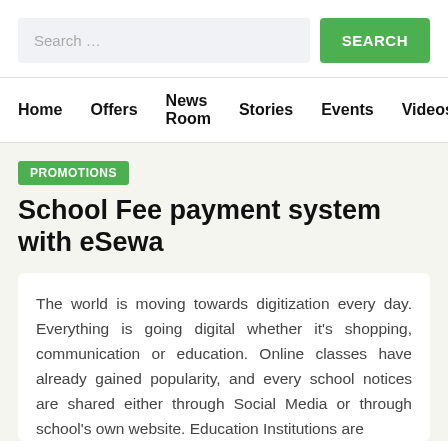Search …
Home | Offers | News Room | Stories | Events | Videos | CSR | Car
PROMOTIONS
School Fee payment system with eSewa
The world is moving towards digitization every day. Everything is going digital whether it's shopping, communication or education. Online classes have already gained popularity, and every school notices are shared either through Social Media or through school's own website. Education Institutions are